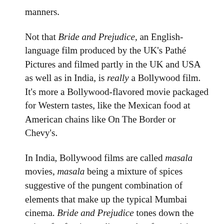manners.
Not that Bride and Prejudice, an English-language film produced by the UK's Pathé Pictures and filmed partly in the UK and USA as well as in India, is really a Bollywood film. It's more a Bollywood-flavored movie packaged for Western tastes, like the Mexican food at American chains like On The Border or Chevy's.
In India, Bollywood films are called masala movies, masala being a mixture of spices suggestive of the pungent combination of elements that make up the typical Mumbai cinema. Bride and Prejudice tones down the spices for foreign audiences, but for a cuisine with which few Americans have had any exposure at all, it's authentic enough to give us our first taste of the real thing.